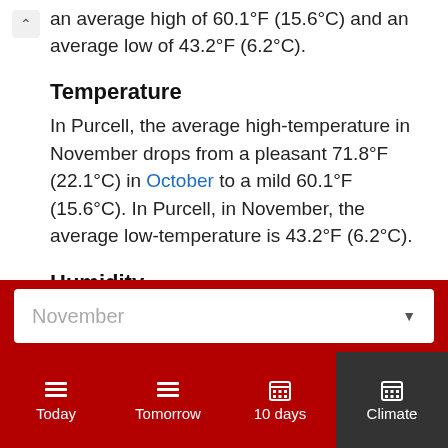an average high of 60.1°F (15.6°C) and an average low of 43.2°F (6.2°C).
Temperature
In Purcell, the average high-temperature in November drops from a pleasant 71.8°F (22.1°C) in October to a mild 60.1°F (15.6°C). In Purcell, in November, the average low-temperature is 43.2°F (6.2°C).
Humidity
In November, the average relative humidity in
November ▼
Today
Tomorrow
10 days
Climate